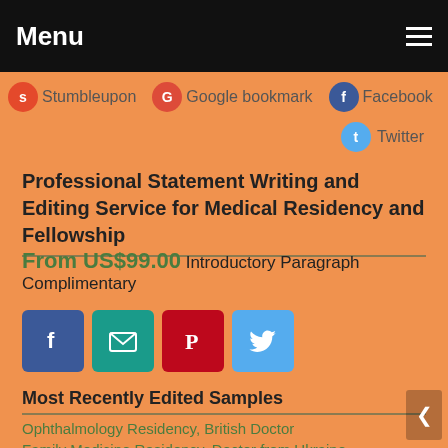Menu
Stumbleupon
Google bookmark
Facebook
Twitter
Professional Statement Writing and Editing Service for Medical Residency and Fellowship
From US$99.00 Introductory Paragraph Complimentary
[Figure (infographic): Social share buttons: Facebook (blue), Email (teal), Pinterest (red), Twitter (light blue)]
Most Recently Edited Samples
Ophthalmology Residency, British Doctor
Family Medicine Residency, Doctor from Ukraine